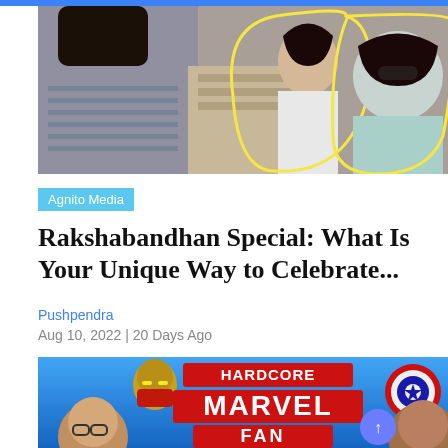[Figure (photo): Photo of people at an outdoor event, two women highlighted with yellow outlines]
Agnito Media
Rakshabandhan Special: What Is Your Unique Way to Celebrate...
Pushpendra
Aug 10, 2022 | 20 Days Ago
[Figure (photo): Promotional image for 'Hardcore Marvel Fan' with Iron Man helmet, Captain America shield, and two people's faces]